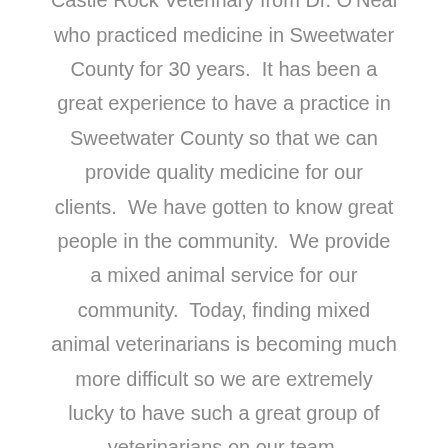Castle Rock Veterinary from Dr. O'Neal who practiced medicine in Sweetwater County for 30 years.  It has been a great experience to have a practice in Sweetwater County so that we can provide quality medicine for our clients.  We have gotten to know great people in the community.  We provide a mixed animal service for our community.  Today, finding mixed animal veterinarians is becoming much more difficult so we are extremely lucky to have such a great group of veterinarians on our team.